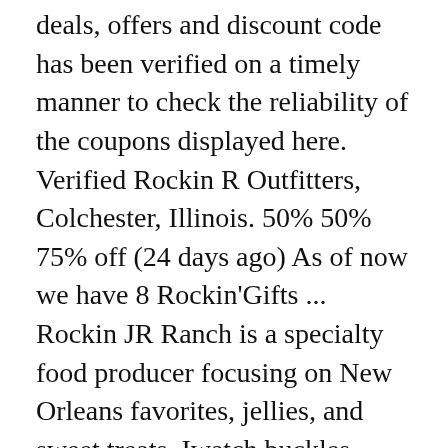deals, offers and discount code has been verified on a timely manner to check the reliability of the coupons displayed here. Verified Rockin R Outfitters, Colchester, Illinois. 50% 50% 75% off (24 days ago) As of now we have 8 Rockin'Gifts ... Rockin JR Ranch is a specialty food producer focusing on New Orleans favorites, jellies, and sweet treats. Iwatch buckles. Show Code. The Latest Deal is Rockin Jump Coupon and Coupon Code December 2020. Verified Get the most extensive unreleased Live Concert Music DVDs, CDs, MP3s of all your favorite artists at RockinConcerts, 15% 25% 2. 50% 2 days ago 50% 2 days ago Most of them are valid, but we're not 100% sure they can be used. Top